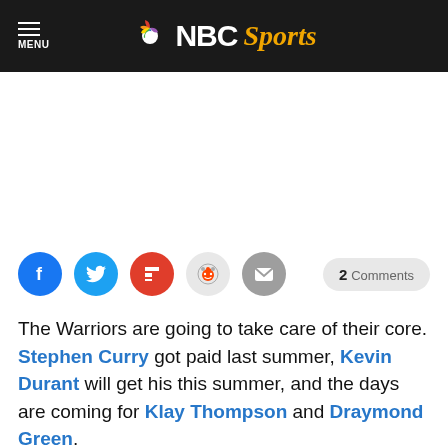NBC Sports
[Figure (other): Social sharing buttons: Facebook, Twitter, Flipboard, Reddit, Email, and a 2 Comments button]
The Warriors are going to take care of their core. Stephen Curry got paid last summer, Kevin Durant will get his this summer, and the days are coming for Klay Thompson and Draymond Green.

There's also Steve Kerr.